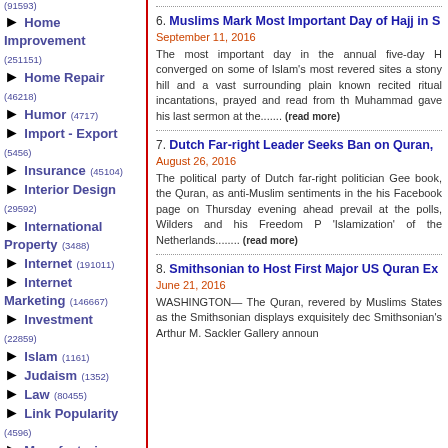(91593)
Home Improvement (251151)
Home Repair (46218)
Humor (4717)
Import - Export (5456)
Insurance (45104)
Interior Design (29592)
International Property (3488)
Internet (191011)
Internet Marketing (146667)
Investment (22859)
Islam (1161)
Judaism (1352)
Law (80455)
Link Popularity (4596)
Manufacturing (20902)
Marketing (99277)
MLM (14140)
Motivation (18233)
Music (26000)
6. Muslims Mark Most Important Day of Hajj in S
September 11, 2016
The most important day in the annual five-day H converged on some of Islam's most revered sites a stony hill and a vast surrounding plain known recited ritual incantations, prayed and read from th Muhammad gave his last sermon at the....... (read more)
7. Dutch Far-right Leader Seeks Ban on Quran,
August 26, 2016
The political party of Dutch far-right politician Gee book, the Quran, as anti-Muslim sentiments in the his Facebook page on Thursday evening ahead prevail at the polls, Wilders and his Freedom P 'Islamization' of the Netherlands........ (read more)
8. Smithsonian to Host First Major US Quran Ex
June 21, 2016
WASHINGTON— The Quran, revered by Muslims States as the Smithsonian displays exquisitely dec Smithsonian's Arthur M. Sackler Gallery announ